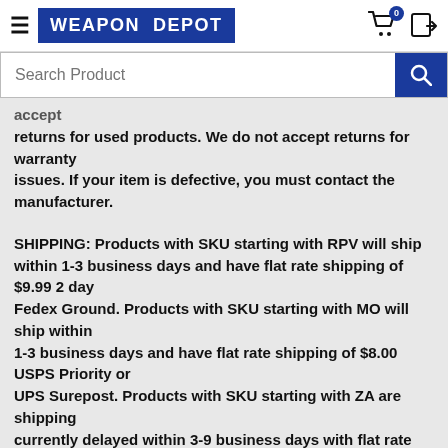WEAPON DEPOT
accept returns for used products. We do not accept returns for warranty issues. If your item is defective, you must contact the manufacturer.
SHIPPING: Products with SKU starting with RPV will ship within 1-3 business days and have flat rate shipping of $9.99 2 day Fedex Ground. Products with SKU starting with MO will ship within 1-3 business days and have flat rate shipping of $8.00 USPS Priority or UPS Surepost. Products with SKU starting with ZA are shipping currently delayed within 3-9 business days with flat rate shipping of